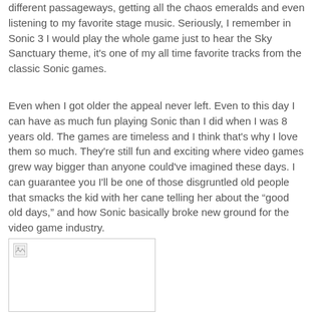different passageways, getting all the chaos emeralds and even listening to my favorite stage music. Seriously, I remember in Sonic 3 I would play the whole game just to hear the Sky Sanctuary theme, it's one of my all time favorite tracks from the classic Sonic games.
Even when I got older the appeal never left. Even to this day I can have as much fun playing Sonic than I did when I was 8 years old. The games are timeless and I think that's why I love them so much. They're still fun and exciting where video games grew way bigger than anyone could've imagined these days. I can guarantee you I'll be one of those disgruntled old people that smacks the kid with her cane telling her about the “good old days,” and how Sonic basically broke new ground for the video game industry.
[Figure (photo): A broken/missing image placeholder with a small broken image icon in the top-left corner, bordered by a thin rectangle.]